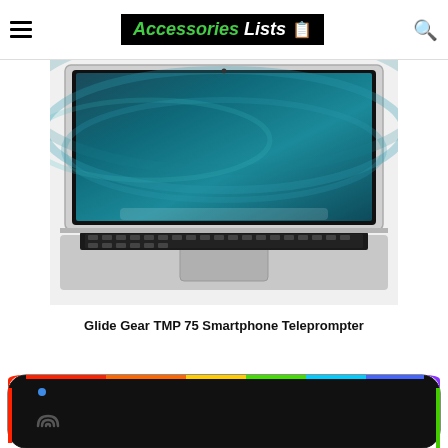Accessories Lists
[Figure (photo): Silver Apple MacBook Pro laptop with teal/ocean wallpaper on screen, keyboard and trackpad visible, shot from slight angle on white background]
Glide Gear TMP 75 Smartphone Teleprompter
[Figure (photo): Black RGB gaming mouse pad with colorful LED border lighting (red, green, blue) and wireless charging symbol on left side, shot from above angle on white background]